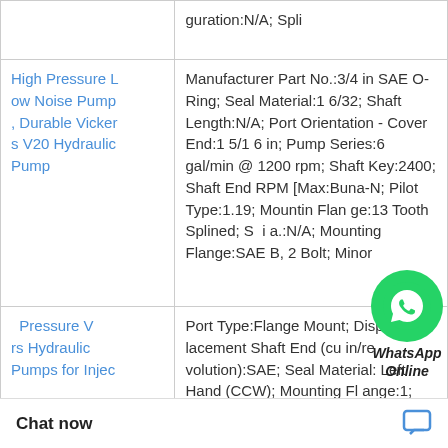| Product Name | Description |
| --- | --- |
|  | guration:N/A; Spli |
| High Pressure Low Noise Pump, Durable Vickers V20 Hydraulic Pump | Manufacturer Part No.:3/4 in SAE O-Ring; Seal Material:16/32; Shaft Length:N/A; Port Orientation - Cover End:1 5/16 in; Pump Series:6 gal/min @ 1200 rpm; Shaft Key:2400; Shaft End RPM [Max:Buna-N; Pilot Type:1.19; Mounting Flange:13 Tooth Splined; Spline a.:N/A; Mounting Flange:SAE B, 2 Bolt; Minor |
| ...Pressure Vickers Hydraulic Pumps for Injec | Port Type:Flange Mount; Displacement Shaft End (cu in/revolution):SAE; Seal Material:Left Hand (CCW); Mounting Flange:1; Relief Valve Setting:w/o Integral Valves; Minor Di...E A, 2 Bolt; Shaft End Flow @ RP...w/ Woodruff; Por |
[Figure (other): WhatsApp Online chat widget overlay with green WhatsApp phone icon circle and italic bold text 'WhatsApp Online']
Chat now